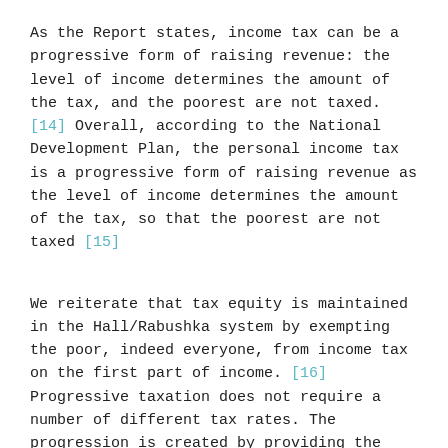As the Report states, income tax can be a progressive form of raising revenue: the level of income determines the amount of the tax, and the poorest are not taxed. [14] Overall, according to the National Development Plan, the personal income tax is a progressive form of raising revenue as the level of income determines the amount of the tax, so that the poorest are not taxed [15]
We reiterate that tax equity is maintained in the Hall/Rabushka system by exempting the poor, indeed everyone, from income tax on the first part of income. [16] Progressive taxation does not require a number of different tax rates. The progression is created by providing the initial exemption threshold. Such a flat rate system is progressive, counter-intuitive as it may appear to some.